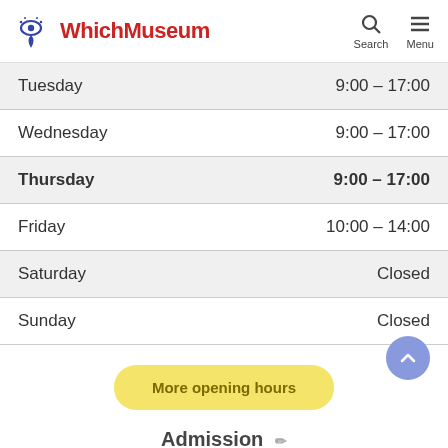WhichMuseum — Search / Menu
| Day | Hours |
| --- | --- |
| Tuesday | 9:00 – 17:00 |
| Wednesday | 9:00 – 17:00 |
| Thursday | 9:00 – 17:00 |
| Friday | 10:00 – 14:00 |
| Saturday | Closed |
| Sunday | Closed |
More opening hours
Admission